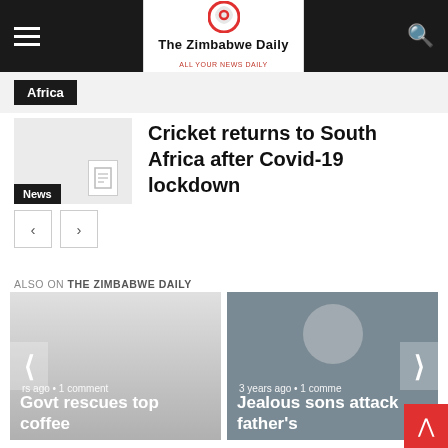The Zimbabwe Daily
Africa
Cricket returns to South Africa after Covid-19 lockdown
News
ALSO ON THE ZIMBABWE DAILY
3 years ago • 1 comment  Govt rescues top coffee
3 years ago • 1 comment  Jealous sons attack father's